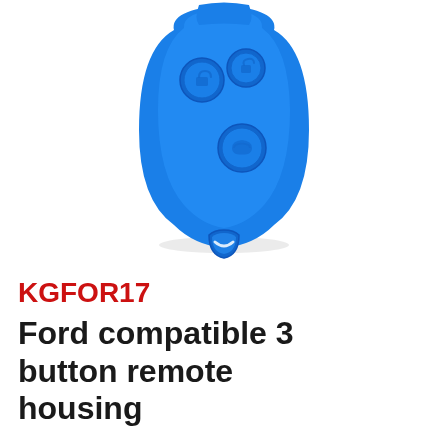[Figure (photo): Blue Ford-compatible 3-button remote key fob housing, viewed from the front. The blue plastic shell has three circular buttons with car lock, unlock, and boot icons. It has a keyring loop at the bottom.]
KGFOR17
Ford compatible 3 button remote housing